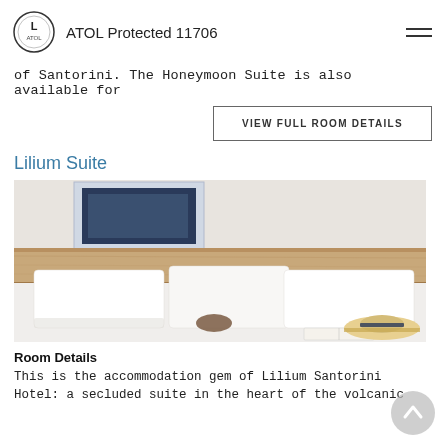ATOL Protected 11706
of Santorini. The Honeymoon Suite is also available for
VIEW FULL ROOM DETAILS
Lilium Suite
[Figure (photo): Hotel room photo showing a bed with white pillows and linens against a wooden headboard, with an open book and a straw hat on the bed. Art print visible on the wall behind.]
Room Details
This is the accommodation gem of Lilium Santorini Hotel: a secluded suite in the heart of the volcanic